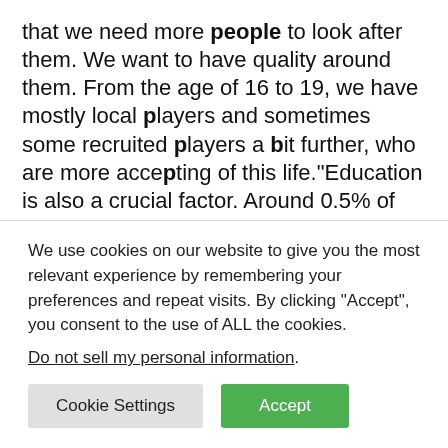that we need more people to look after them. We want to have quality around them. From the age of 16 to 19, we have mostly local players and sometimes some recruited players a bit further, who are more accepting of this life."Education is also a crucial factor. Around 0.5% of academy players will make it as professionals, so they need to secure good grades too. If a player does not perform well at school, they don't get time on the pitch. This strict approach ensures the players keep their feet on the ground. "In France, a pre-academy means studying
We use cookies on our website to give you the most relevant experience by remembering your preferences and repeat visits. By clicking "Accept", you consent to the use of ALL the cookies.
Do not sell my personal information.